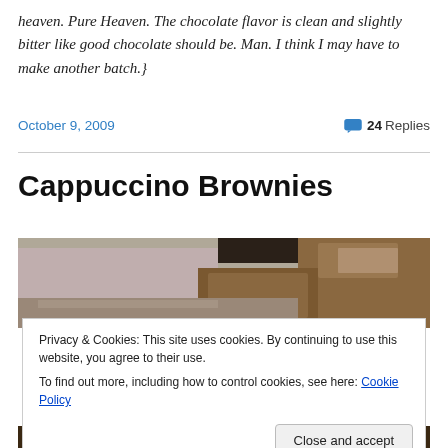heaven. Pure Heaven. The chocolate flavor is clean and slightly bitter like good chocolate should be. Man. I think I may have to make another batch.}
October 9, 2009
24 Replies
Cappuccino Brownies
[Figure (photo): Photo of cappuccino brownies on a plate, showing crumbly texture with a light-colored topping]
Privacy & Cookies: This site uses cookies. By continuing to use this website, you agree to their use.
To find out more, including how to control cookies, see here: Cookie Policy
Close and accept